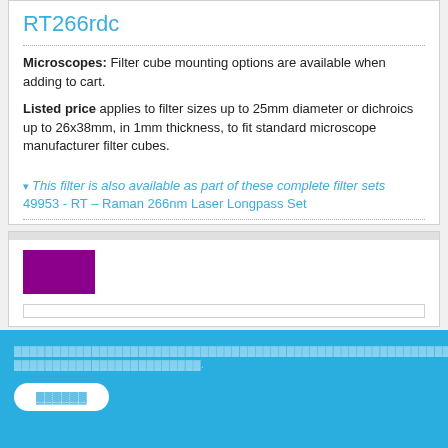RT266rdc
Microscopes: Filter cube mounting options are available when adding to cart.
Listed price applies to filter sizes up to 25mm diameter or dichroics up to 26x38mm, in 1mm thickness, to fit standard microscope manufacturer filter cubes.
▾ This filter is also available as part of these complete filter sets
49953 - RT – Raman 266nm Laser Longpass Set
[Figure (other): Purple/magenta colored rectangle swatch]
[footer text redacted/illegible] [button]